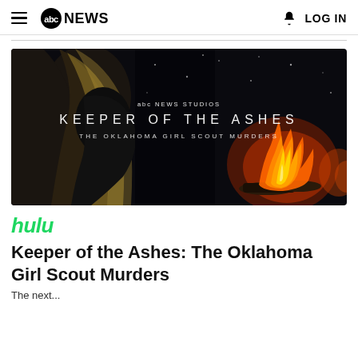abc NEWS | LOG IN
[Figure (photo): Promotional image for 'Keeper of the Ashes: The Oklahoma Girl Scout Murders' — a dark scene showing a blonde woman's profile on the left and a campfire on the right, with text overlay reading 'abc NEWS STUDIOS / KEEPER OF THE ASHES / THE OKLAHOMA GIRL SCOUT MURDERS']
hulu
Keeper of the Ashes: The Oklahoma Girl Scout Murders
The next...